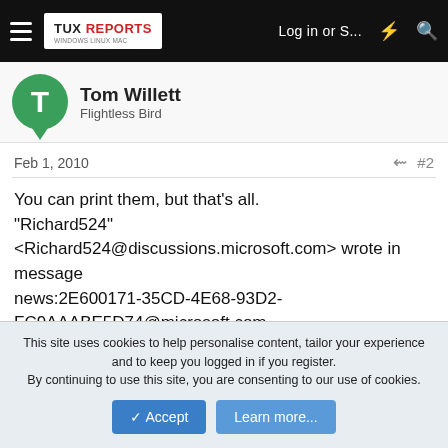TUX REPORTS — Log in or S... (nav bar)
Tom Willett
Flightless Bird
Feb 1, 2010  #2
You can print them, but that's all.
"Richard524" <Richard524@discussions.microsoft.com> wrote in message
news:2E600171-35CD-4E68-93D2-FC9AAABE5D74@microsoft.com...
: Ihad an office trial, which has now expired. During the trial period
Iwrote
: numerous important letters which I need to retrieve.Am I still able to do
This site uses cookies to help personalise content, tailor your experience and to keep you logged in if you register.
By continuing to use this site, you are consenting to our use of cookies.
✓ Accept    Learn more...